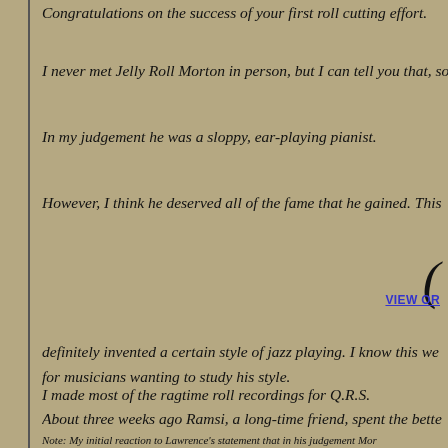Congratulations on the success of your first roll cutting effort.
I never met Jelly Roll Morton in person, but I can tell you that, so
In my judgement he was a sloppy, ear-playing pianist.
However, I think he deserved all of the fame that he gained. This
(
VIEW OR
definitely invented a certain style of jazz playing. I know this we for musicians wanting to study his style.
I made most of the ragtime roll recordings for Q.R.S.
About three weeks ago Ramsi, a long-time friend, spent the bette he told me of Brian's departure from Q.R.S. I agree with your app
Note: My initial reaction to Lawrence's statement that in his judgement Mor